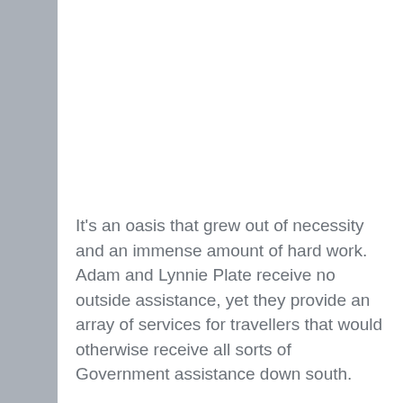It's an oasis that grew out of necessity and an immense amount of hard work. Adam and Lynnie Plate receive no outside assistance, yet they provide an array of services for travellers that would otherwise receive all sorts of Government assistance down south.